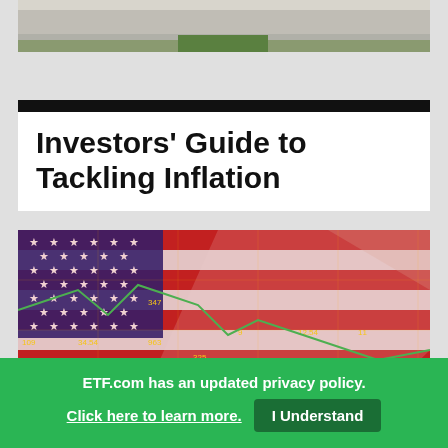[Figure (photo): Partial view of a sidewalk with green grass, blurred background — top strip photo]
Investors' Guide to Tackling Inflation
[Figure (photo): American flag overlaid with a financial stock market chart grid showing numbers like 34.54, 74.21, 9.054, 19.10, 66.88 etc., with green and yellow trend lines — inflation investing themed imagery]
ETF.com has an updated privacy policy.
Click here to learn more.
I Understand